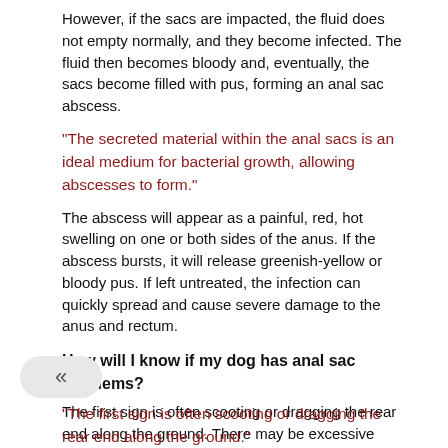However, if the sacs are impacted, the fluid does not empty normally, and they become infected. The fluid then becomes bloody and, eventually, the sacs become filled with pus, forming an anal sac abscess.
"The secreted material within the anal sacs is an ideal medium for bacterial growth, allowing abscesses to form."
The abscess will appear as a painful, red, hot swelling on one or both sides of the anus. If the abscess bursts, it will release greenish-yellow or bloody pus. If left untreated, the infection can quickly spread and cause severe damage to the anus and rectum.
How will I know if my dog has anal sac problems?
The first sign is often scooting or dragging the rear end along the ground. There may be excessive licking or biting, often at the base of the tail rather than the anal area. If the anal sac ruptures, you may see blood or pus draining from the rectum. Anal sac disease is very painful. Even normally gentle dogs may snap or growl if you touch the tail or anus if they are affected.
"The first sign is often scooting or dragging the rear end along the ground."